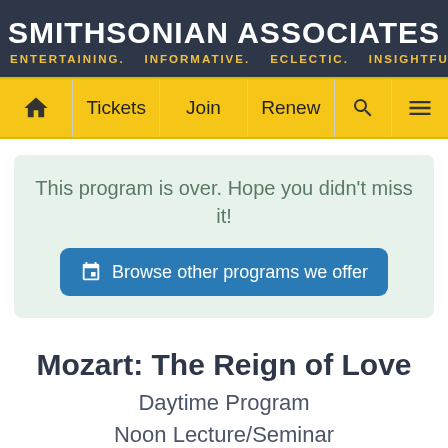SMITHSONIAN ASSOCIATES
ENTERTAINING. INFORMATIVE. ECLECTIC. INSIGHTFUL.
[Figure (screenshot): Navigation bar with home icon, Tickets, Join, Renew, search icon, and menu icon on yellow background]
This program is over. Hope you didn't miss it!
Browse other programs we offer
Mozart: The Reign of Love
Daytime Program
Noon Lecture/Seminar